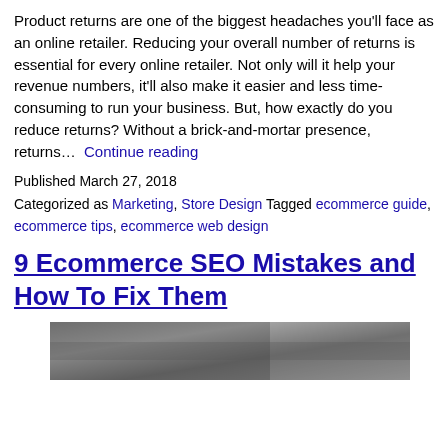Product returns are one of the biggest headaches you'll face as an online retailer. Reducing your overall number of returns is essential for every online retailer. Not only will it help your revenue numbers, it'll also make it easier and less time-consuming to run your business. But, how exactly do you reduce returns? Without a brick-and-mortar presence, returns… Continue reading
Published March 27, 2018
Categorized as Marketing, Store Design Tagged ecommerce guide, ecommerce tips, ecommerce web design
9 Ecommerce SEO Mistakes and How To Fix Them
[Figure (photo): A blurred/dark photograph showing what appears to be a laptop or computer screen and a keyboard, used as an article thumbnail image.]